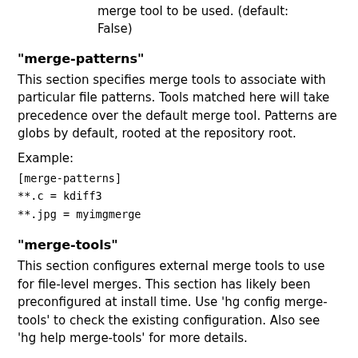merge tool to be used. (default: False)
"merge-patterns"
This section specifies merge tools to associate with particular file patterns. Tools matched here will take precedence over the default merge tool. Patterns are globs by default, rooted at the repository root.
Example:
[merge-patterns]
**.c = kdiff3
**.jpg = myimgmerge
"merge-tools"
This section configures external merge tools to use for file-level merges. This section has likely been preconfigured at install time. Use 'hg config merge-tools' to check the existing configuration. Also see 'hg help merge-tools' for more details.